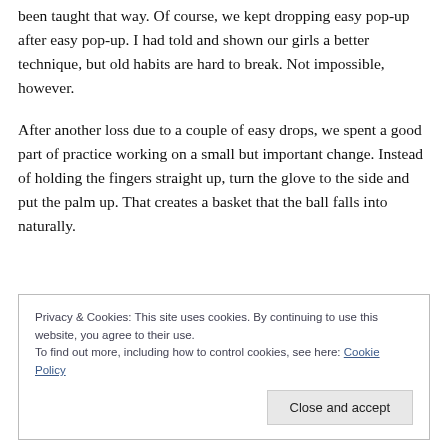been taught that way. Of course, we kept dropping easy pop-up after easy pop-up. I had told and shown our girls a better technique, but old habits are hard to break. Not impossible, however.
After another loss due to a couple of easy drops, we spent a good part of practice working on a small but important change. Instead of holding the fingers straight up, turn the glove to the side and put the palm up. That creates a basket that the ball falls into naturally.
Privacy & Cookies: This site uses cookies. By continuing to use this website, you agree to their use. To find out more, including how to control cookies, see here: Cookie Policy. Close and accept